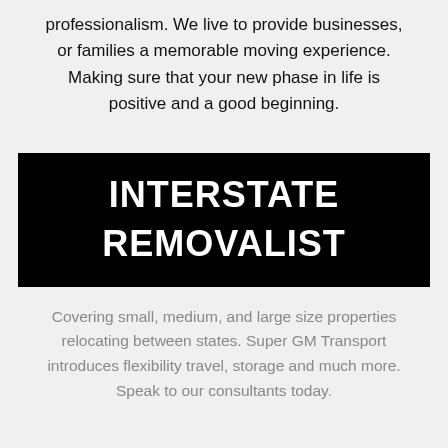professionalism. We live to provide businesses, or families a memorable moving experience. Making sure that your new phase in life is positive and a good beginning.
INTERSTATE REMOVALIST
Covering small, medium, and large size properties relocating between states. Super GM Transport introduces flexibility travel, storage and much more. Speak to our consultants today.